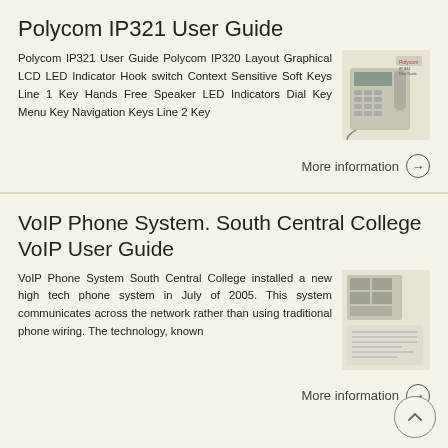Polycom IP321 User Guide
Polycom IP321 User Guide Polycom IP320 Layout Graphical LCD LED Indicator Hook switch Context Sensitive Soft Keys Line 1 Key Hands Free Speaker LED Indicators Dial Key Menu Key Navigation Keys Line 2 Key
[Figure (photo): Photo of a Polycom IP321 desk phone]
More information →
VoIP Phone System. South Central College VoIP User Guide
VoIP Phone System South Central College installed a new high tech phone system in July of 2005. This system communicates across the network rather than using traditional phone wiring. The technology, known
[Figure (photo): Photo of VoIP phone system equipment and document]
More information →